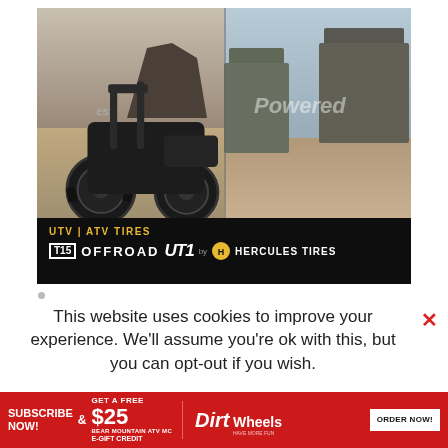[Figure (advertisement): Advertisement for TIS Offroad UT1 UTV/ATV Tires by Hercules Tires. Shows a black side-by-side ATV on rocky desert terrain on the left half, rocky buttes landscape on the right half with 'Powered' text watermark. Black banner at bottom reads 'UTV | ATV TIRES' in gold and 'TIS OFFROAD UT1 by HERCULES TIRES' in white.]
This website uses cookies to improve your experience. We'll assume you're ok with this, but you can opt-out if you wish.
[Figure (advertisement): Red subscription banner at bottom: SUBSCRIBE NOW! & GET A FREE $25 Bear Mountain ATV MC E-GIFT CREDIT | Dirt Wheels logo | ORDER NOW! button]